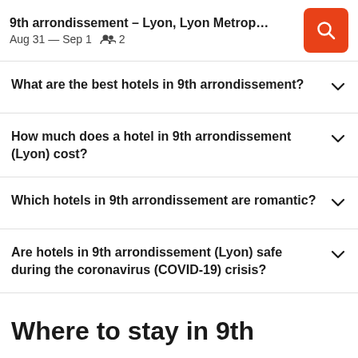9th arrondissement – Lyon, Lyon Metropolis, ...
Aug 31 — Sep 1   2
What are the best hotels in 9th arrondissement?
How much does a hotel in 9th arrondissement (Lyon) cost?
Which hotels in 9th arrondissement are romantic?
Are hotels in 9th arrondissement (Lyon) safe during the coronavirus (COVID-19) crisis?
Where to stay in 9th